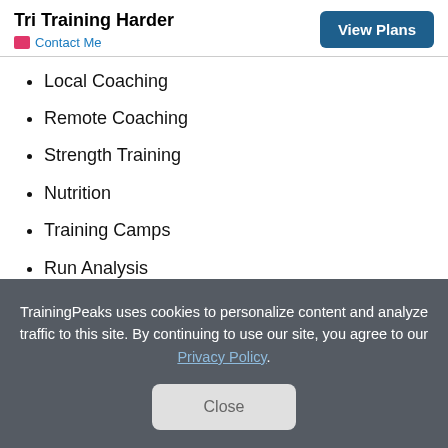Tri Training Harder
Contact Me
Local Coaching
Remote Coaching
Strength Training
Nutrition
Training Camps
Run Analysis
Swim Analysis
TrainingPeaks uses cookies to personalize content and analyze traffic to this site. By continuing to use our site, you agree to our Privacy Policy.
Close